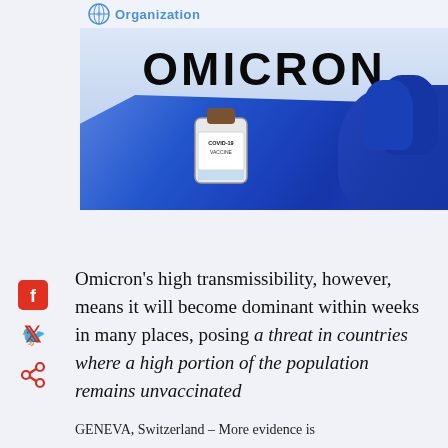[Figure (photo): WHO logo banner at top with 'Organization' text in blue, followed by large image showing the word OMICRON in bold black text over a light blue/white background, with a gloved hand in blue latex gloves holding a COVID-19 vaccine vial]
Omicron's high transmissibility, however, means it will become dominant within weeks in many places, posing a threat in countries where a high portion of the population remains unvaccinated
GENEVA, Switzerland – More evidence is